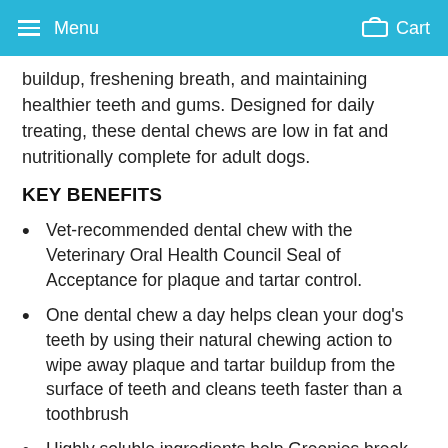Menu  Cart
buildup, freshening breath, and maintaining healthier teeth and gums. Designed for daily treating, these dental chews are low in fat and nutritionally complete for adult dogs.
KEY BENEFITS
Vet-recommended dental chew with the Veterinary Oral Health Council Seal of Acceptance for plaque and tartar control.
One dental chew a day helps clean your dog's teeth by using their natural chewing action to wipe away plaque and tartar buildup from the surface of teeth and cleans teeth faster than a toothbrush
Highly soluble ingredients help Greenies break down quickly for easy digestion, making them